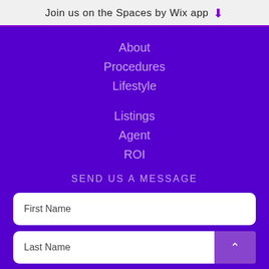Join us on the Spaces by Wix app ↓
About
Procedures
Lifestyle
Listings
Agent
ROI
SEND US A MESSAGE
First Name
Last Name
Email *
Subject